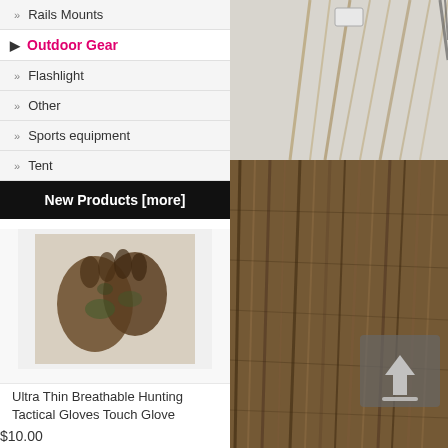Rails Mounts
Outdoor Gear
Flashlight
Other
Sports equipment
Tent
New Products  [more]
[Figure (photo): Camouflage hunting gloves product photo - Ultra Thin Breathable Hunting Tactical Gloves Touch Glove]
Ultra Thin Breathable Hunting Tactical Gloves Touch Glove
$10.00
[Figure (photo): Black Mechanix tactical glove product photo]
[Figure (photo): Top image: ghillie suit threads on light background]
[Figure (photo): Bottom image: close-up of brown burlap/jute fringe material with upload icon overlay]